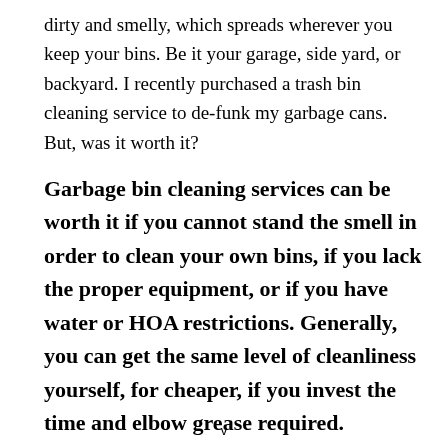dirty and smelly, which spreads wherever you keep your bins. Be it your garage, side yard, or backyard. I recently purchased a trash bin cleaning service to de-funk my garbage cans. But, was it worth it?
Garbage bin cleaning services can be worth it if you cannot stand the smell in order to clean your own bins, if you lack the proper equipment, or if you have water or HOA restrictions. Generally, you can get the same level of cleanliness yourself, for cheaper, if you invest the time and elbow grease required.
v